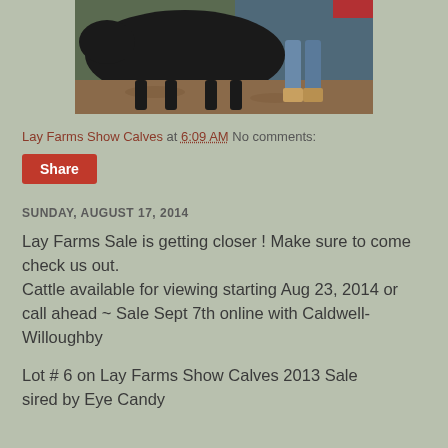[Figure (photo): A dark-colored show calf being led in an indoor arena with sandy floor and blue backdrop, handler visible wearing jeans and boots]
Lay Farms Show Calves at 6:09 AM    No comments:
Share
SUNDAY, AUGUST 17, 2014
Lay Farms Sale is getting closer ! Make sure to come check us out.
Cattle available for viewing starting Aug 23, 2014 or call ahead ~ Sale Sept 7th online with Caldwell-Willoughby
Lot # 6 on Lay Farms Show Calves 2013 Sale
sired by Eye Candy